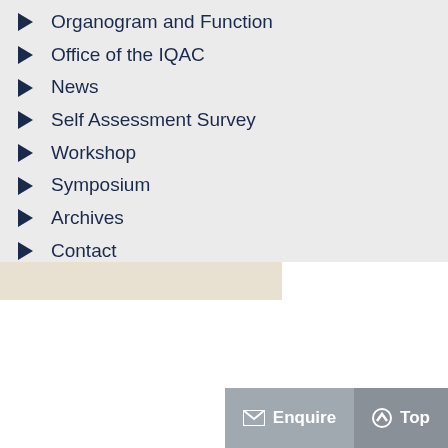Organogram and Function
Office of the IQAC
News
Self Assessment Survey
Workshop
Symposium
Archives
Contact
[Figure (photo): Partial view of a person's head at the bottom of the navigation panel]
Enquire  Top